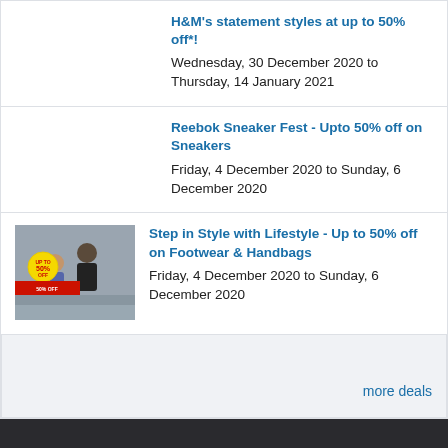H&M's statement styles at up to 50% off*!
Wednesday, 30 December 2020 to Thursday, 14 January 2021
Reebok Sneaker Fest - Upto 50% off on Sneakers
Friday, 4 December 2020 to Sunday, 6 December 2020
[Figure (photo): Lifestyle store promotion image showing two people, with a yellow circular badge and red banner reading 'UP TO 50% OFF']
Step in Style with Lifestyle - Up to 50% off on Footwear & Handbags
Friday, 4 December 2020 to Sunday, 6 December 2020
more deals